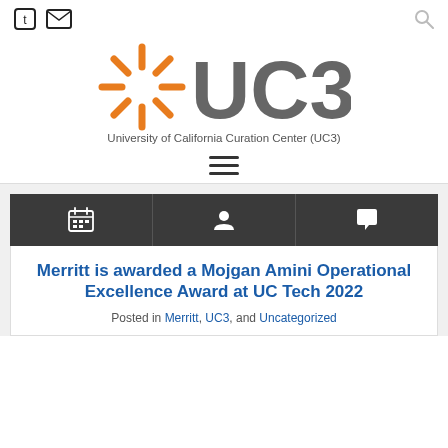Twitter icon, Email icon, Search icon
[Figure (logo): UC3 logo with orange sunburst icon and gray UC3 text, University of California Curation Center (UC3)]
Merritt is awarded a Mojgan Amini Operational Excellence Award at UC Tech 2022
Posted in Merritt, UC3, and Uncategorized